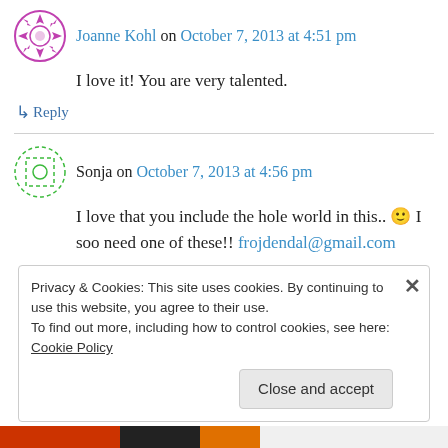Joanne Kohl on October 7, 2013 at 4:51 pm
I love it! You are very talented.
↳ Reply
Sonja on October 7, 2013 at 4:56 pm
I love that you include the hole world in this.. 🙂 I soo need one of these!! frojdendal@gmail.com
↳ Reply
Privacy & Cookies: This site uses cookies. By continuing to use this website, you agree to their use. To find out more, including how to control cookies, see here: Cookie Policy
Close and accept